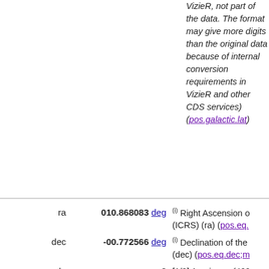VizieR, not part of the data. The format may give more digits than the original data because of internal conversion requirements in VizieR and other CDS services) (pos.galactic.lat)
| name | value | description |
| --- | --- | --- |
| ra | 010.868083 deg | (i) Right Ascension of the source (ICRS) (ra) (pos.eq... |
| dec | -00.772566 deg | (i) Declination of the source (dec) (pos.eq.dec;me... |
| mode | 2 | [1/2] 1: primary (469,053,874 sources), 2: secondary (324,960,094 sources) (meta.code.class) |
| clean |  | [+] '+' indicates clean photometry (310,190,812 sources with mode 1+) (clean) (meta.code.qual;inst... |
| class | 3 | Type of object (3=galaxy) (Note 1) (src.class) |
| SDSS12 | J004328.33-004621.2 | (i) SDSS-DR12 name... |